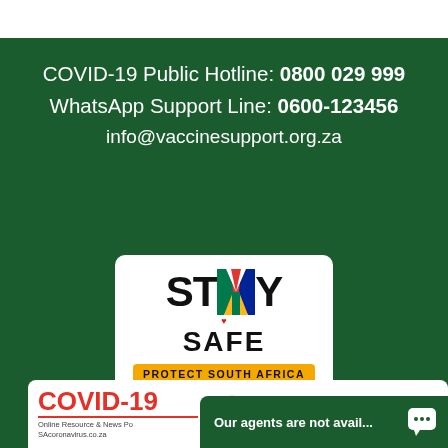COVID-19 Public Hotline: 0800 029 999
WhatsApp Support Line: 0600-123456
info@vaccinesupport.org.za
[Figure (logo): Stay Safe - Protect South Africa logo with South African flag colours forming the Y in STAY, with a heart and orange banner reading PROTECT SOUTH AFRICA]
[Figure (screenshot): Bottom footer showing COVID-19 Online Resource and News Portal SAcoronavirus.co.za branding alongside a dark green chat overlay reading 'Our agents are not avail...' with a chat bubble icon]